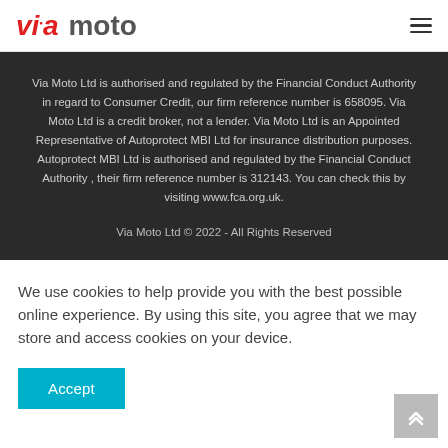via moto
Via Moto Ltd is authorised and regulated by the Financial Conduct Authority in regard to Consumer Credit, our firm reference number is 658095. Via Moto Ltd is a credit broker, not a lender. Via Moto Ltd is an Appointed Representative of Autoprotect MBI Ltd for insurance distribution purposes. Autoprotect MBI Ltd is authorised and regulated by the Financial Conduct Authority , their firm reference number is 312143. You can check this by visiting www.fca.org.uk.
Via Moto Ltd © 2022 - All Rights Reserved
We use cookies to help provide you with the best possible online experience. By using this site, you agree that we may store and access cookies on your device.
Accept